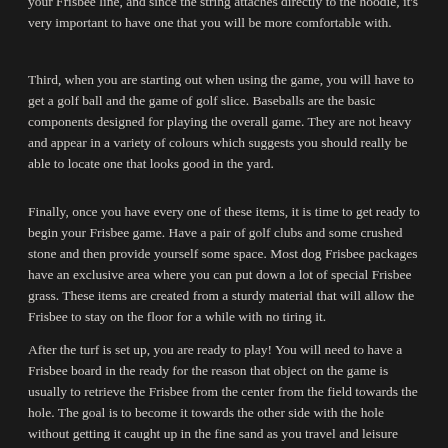your Frisbee line, and since the string attaches directly to the hoodie, it's very important to have one that you will be more comfortable with.
Third, when you are starting out when using the game, you will have to get a golf ball and the game of golf slice. Baseballs are the basic components designed for playing the overall game. They are not heavy and appear in a variety of colours which suggests you should really be able to locate one that looks good in the yard.
Finally, once you have every one of these items, it is time to get ready to begin your Frisbee game. Have a pair of golf clubs and some crushed stone and then provide yourself some space. Most dog Frisbee packages have an exclusive area where you can put down a lot of special Frisbee grass. These items are created from a sturdy material that will allow the Frisbee to stay on the floor for a while with no tiring it.
After the turf is set up, you are ready to play! You will need to have a Frisbee board in the ready for the reason that object on the game is usually to retrieve the Frisbee from the center from the field towards the hole. The goal is to become it towards the other side with the hole without getting it caught up in the fine sand as you travel and leisure back to get it.
A puppy Frisbee package will let you play at home with your family and get a great time. Consequently get started with a package today and have a excellent time with your doggie.